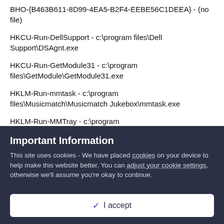BHO-{B463B611-8D99-4EA5-B2F4-EEBE56C1DEEA} - (no file)
HKCU-Run-DellSupport - c:\program files\Dell Support\DSAgnt.exe
HKCU-Run-GetModule31 - c:\program files\GetModule\GetModule31.exe
HKLM-Run-mmtask - c:\program files\Musicmatch\Musicmatch Jukebox\mmtask.exe
HKLM-Run-MMTray - c:\program files\Musicmatch\Musicmatch Jukebox\mm_tray.exe
ShellExecuteHooks-{A63E645F-13BD-45ED-B15F-6E8C1BD57279} - ...
Important Information
This site uses cookies - We have placed cookies on your device to help make this website better. You can adjust your cookie settings, otherwise we'll assume you're okay to continue.
[I accept]